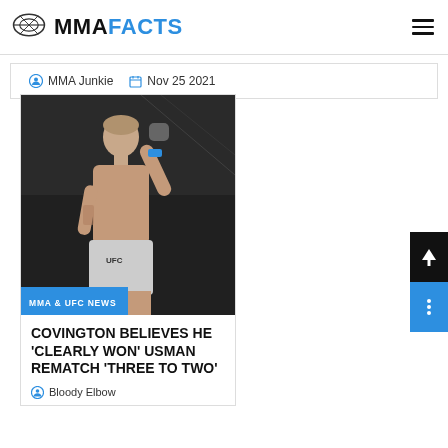MMA FACTS
MMA Junkie  Nov 25 2021
[Figure (photo): MMA fighter (Colby Covington) in UFC shorts raising fist inside an octagon, with MMA & UFC NEWS tag overlay]
COVINGTON BELIEVES HE 'CLEARLY WON' USMAN REMATCH 'THREE TO TWO'
Bloody Elbow